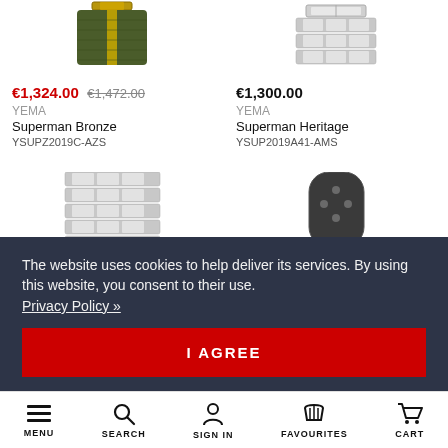[Figure (photo): Green/olive nylon strap with yellow stripe, YEMA Superman Bronze watch band]
[Figure (photo): Silver stainless steel bracelet, YEMA Superman Heritage watch band]
€1,324.00 €1,472.00
YEMA
Superman Bronze
YSUPZ2019C-AZS
€1,300.00
YEMA
Superman Heritage
YSUP2019A41-AMS
[Figure (photo): Silver stainless steel bracelet partial view (second row left)]
[Figure (photo): Dark rubber/leather strap with holes, partial view (second row right)]
The website uses cookies to help deliver its services. By using this website, you consent to their use.
Privacy Policy »
I AGREE
MENU  SEARCH  SIGN IN  FAVOURITES  CART